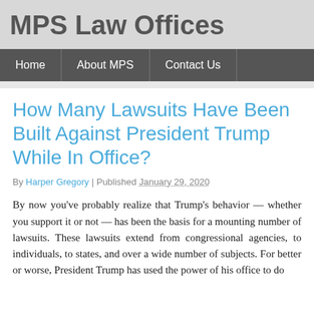MPS Law Offices
Home | About MPS | Contact Us
How Many Lawsuits Have Been Built Against President Trump While In Office?
By Harper Gregory | Published January 29, 2020
By now you’ve probably realize that Trump’s behavior — whether you support it or not — has been the basis for a mounting number of lawsuits. These lawsuits extend from congressional agencies, to individuals, to states, and over a wide number of subjects. For better or worse, President Trump has used the power of his office to do